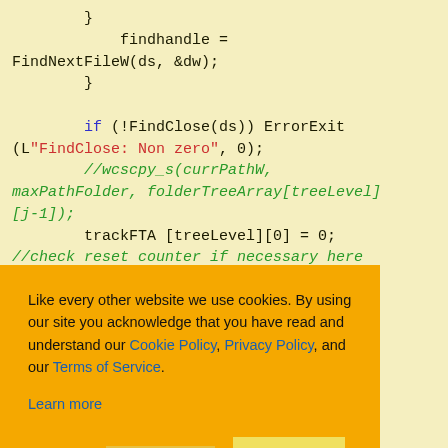[Figure (screenshot): Code snippet in C/C++ on a pale yellow background showing findhandle assignment, FindNextFileW call, closing brace, if(!FindClose(ds)) ErrorExit call with string argument, commented-out wcscpy_s line, trackFTA assignment, and a comment about resetting counter. Partially obscured by a cookie consent overlay.]
Like every other website we use cookies. By using our site you acknowledge that you have read and understand our Cookie Policy, Privacy Policy, and our Terms of Service. Learn more
Ask me later | Decline | Allow cookies